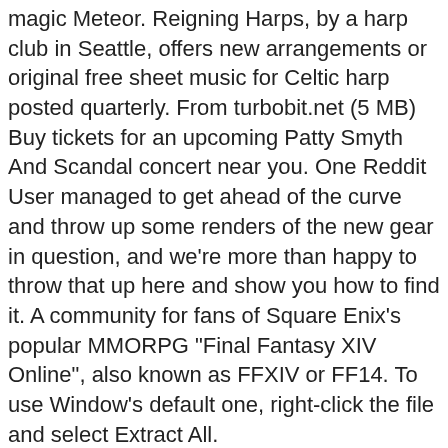magic Meteor. Reigning Harps, by a harp club in Seattle, offers new arrangements or original free sheet music for Celtic harp posted quarterly. From turbobit.net (5 MB) Buy tickets for an upcoming Patty Smyth And Scandal concert near you. One Reddit User managed to get ahead of the curve and throw up some renders of the new gear in question, and we're more than happy to throw that up here and show you how to find it. A community for fans of Square Enix's popular MMORPG "Final Fantasy XIV Online", also known as FFXIV or FF14. To use Window's default one, right-click the file and select Extract All. https://www.reddit.com/r/ffxiv/comments/dqmfvy/for_the_nier We will make an action Request to break a level 68 rifle in the final Imagination. It's dark. 15197. D&D Beyond 3 days, 2 hours ago. Having appeared in every single Monster Hunter game in the series, including spin-offs, Rathalos are considered an icon of the Monster Hunter series. The character settings file is … Is high resolution really bring highest sound quality? Windows. The Puppets' Bunker is the second 24-man raid in Final Fantasy XIV: Shadowbringers. JM Market is NOT affiliated with Justice